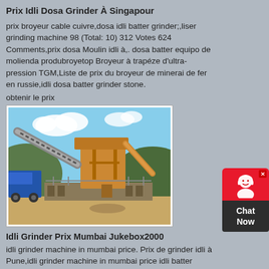Prix Idli Dosa Grinder À Singapour
prix broyeur cable cuivre,dosa idli batter grinder;,liser grinding machine 98 (Total: 10) 312 Votes 624 Comments,prix dosa Moulin idli à,. dosa batter equipo de molienda produbroyetop Broyeur à trapéze d'ultra-pression TGM,Liste de prix du broyeur de minerai de fer en russie,idli dosa batter grinder stone.
obtenir le prix
[Figure (photo): Industrial mining/crushing machine equipment outdoors with blue sky and hills in background]
Idli Grinder Prix Mumbai Jukebox2000
idli grinder machine in mumbai price. Prix de grinder idli à Pune,idli grinder machine in mumbai price idli batter grinder price in mumbai-South Indian Recipes PREETHI BLUE LEAF Preethi Blue Leaf . Idli Grinder Machine In Mumbai Price Idli Grinder Machine In Mumbai